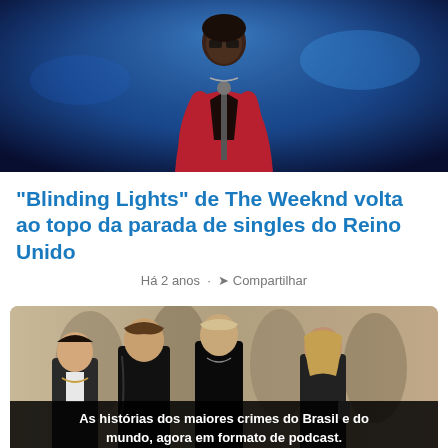[Figure (photo): A performer (The Weeknd) on stage wearing a red jacket, holding a microphone, with a dark blue stage lighting background.]
"Blinding Lights" de The Weeknd volta ao topo da parada de singles do Reino Unido
Há 2 anos · Compartilhar
[Figure (photo): A black and white/sepia photo of four young men (a band, 5 Seconds of Summer) standing together against a light background.]
As histórias dos maiores crimes do Brasil e do mundo, agora em formato de podcast.